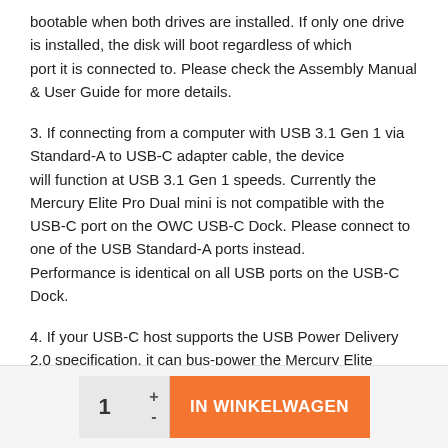bootable when both drives are installed. If only one drive is installed, the disk will boot regardless of which port it is connected to. Please check the Assembly Manual & User Guide for more details.
3. If connecting from a computer with USB 3.1 Gen 1 via Standard-A to USB-C adapter cable, the device will function at USB 3.1 Gen 1 speeds. Currently the Mercury Elite Pro Dual mini is not compatible with the USB-C port on the OWC USB-C Dock. Please connect to one of the USB Standard-A ports instead. Performance is identical on all USB ports on the USB-C Dock.
4. If your USB-C host supports the USB Power Delivery 2.0 specification, it can bus-power the Mercury Elite Pro Dual mini. Other USB hosts may be able to bus-power this device as well. If you find that your chosen
[Figure (other): Shopping cart widget with quantity selector showing '1' with plus and minus buttons, and an orange 'IN WINKELWAGEN' (Add to Cart) button]